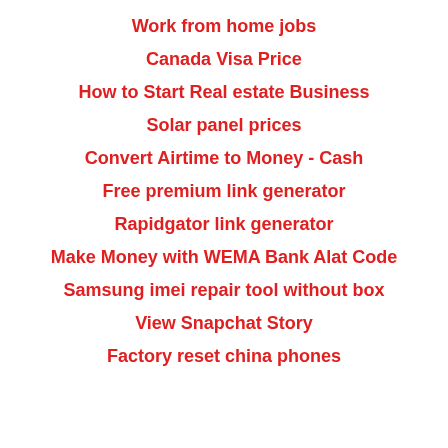Work from home jobs
Canada Visa Price
How to Start Real estate Business
Solar panel prices
Convert Airtime to Money - Cash
Free premium link generator
Rapidgator link generator
Make Money with WEMA Bank Alat Code
Samsung imei repair tool without box
View Snapchat Story
Factory reset china phones